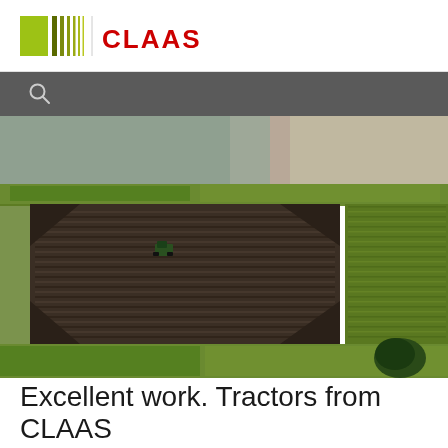[Figure (logo): CLAAS corporate logo with green square and vertical bars on the left, and red CLAAS text on the right]
[Figure (photo): Aerial drone photograph showing agricultural fields from above, with a tractor plowing a dark soil field in a pattern, surrounded by green crop fields and flooded/water fields]
Excellent work. Tractors from CLAAS